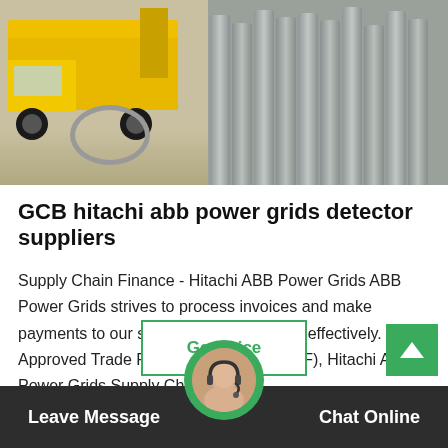[Figure (photo): Photo showing a yellow truck on the left side and rows of gray industrial gas cylinders on the right side, taken outdoors.]
GCB hitachi abb power grids detector suppliers
Supply Chain Finance - Hitachi ABB Power Grids ABB Power Grids strives to process invoices and make payments to our suppliers efficiently and effectively. With Approved Trade Payables Finance (ATPF), Hitachi ABB Power Grids Supply Chain Financ…
Leave Message  Get Price  Chat Online